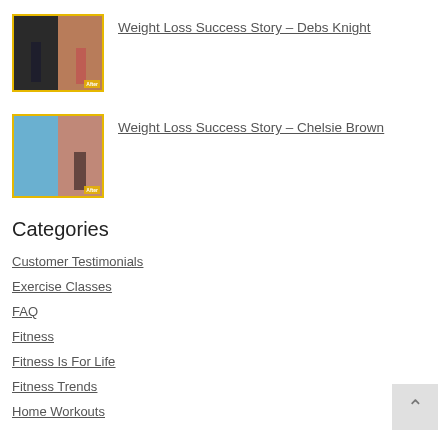[Figure (photo): Before/after thumbnail photo for Debs Knight weight loss story, yellow border]
Weight Loss Success Story – Debs Knight
[Figure (photo): Before/after thumbnail photo for Chelsie Brown weight loss story, yellow border]
Weight Loss Success Story – Chelsie Brown
Categories
Customer Testimonials
Exercise Classes
FAQ
Fitness
Fitness Is For Life
Fitness Trends
Home Workouts